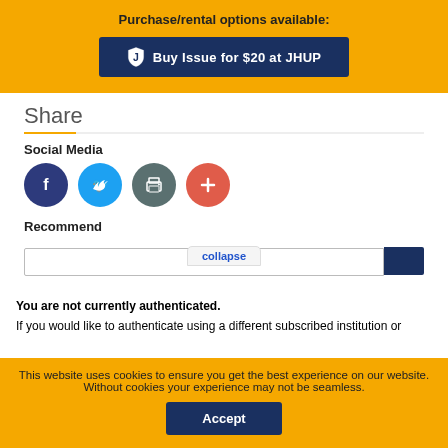Purchase/rental options available:
[Figure (screenshot): Dark blue button with JHUP shield logo: 'Buy Issue for $20 at JHUP']
Share
Social Media
[Figure (infographic): Four social media icon circles: Facebook (dark blue), Twitter (light blue), Print (gray), Add/More (red-orange)]
Recommend
[Figure (screenshot): Collapse tooltip tab, recommend input field and dark blue button]
You are not currently authenticated.
If you would like to authenticate using a different subscribed institution or
This website uses cookies to ensure you get the best experience on our website. Without cookies your experience may not be seamless.
[Figure (screenshot): Dark blue Accept button]